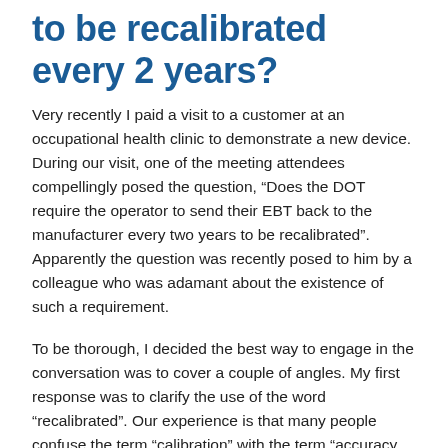to be recalibrated every 2 years?
Very recently I paid a visit to a customer at an occupational health clinic to demonstrate a new device. During our visit, one of the meeting attendees compellingly posed the question, “Does the DOT require the operator to send their EBT back to the manufacturer every two years to be recalibrated”. Apparently the question was recently posed to him by a colleague who was adamant about the existence of such a requirement.
To be thorough, I decided the best way to engage in the conversation was to cover a couple of angles. My first response was to clarify the use of the word “recalibrated”. Our experience is that many people confuse the term “calibration” with the term “accuracy check.” I explained that a calibration is a procedure designed to bring an Evidential...